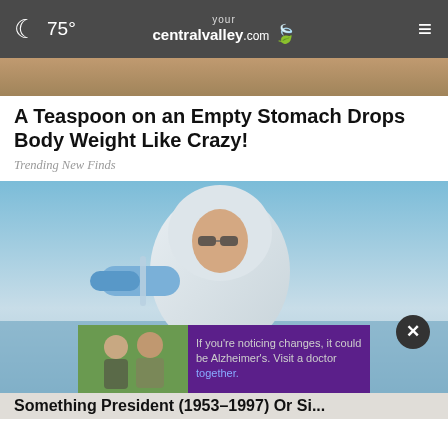75° yourcentralvalley.com
[Figure (photo): Top partial image, cropped — appears to be a person outdoors]
A Teaspoon on an Empty Stomach Drops Body Weight Like Crazy!
Trending New Finds
[Figure (photo): Scientist in white hazmat suit and blue gloves holding a glass beaker near a body of water outdoors]
[Figure (photo): Advertisement banner: two men outdoors with text 'If you're noticing changes, it could be Alzheimer's. Visit a doctor together.']
If you're noticing changes, it could be Alzheimer's. Visit a doctor together.
Something President (1953–1997) Or Si...